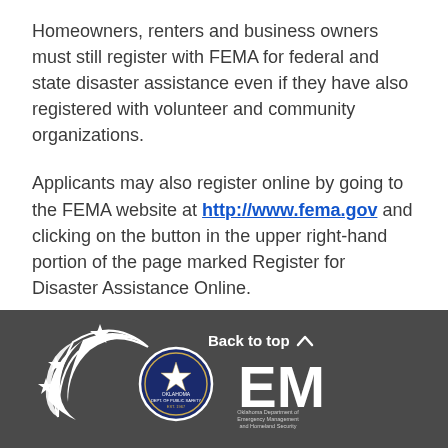Homeowners, renters and business owners must still register with FEMA for federal and state disaster assistance even if they have also registered with volunteer and community organizations.
Applicants may also register online by going to the FEMA website at http://www.fema.gov and clicking on the button in the upper right-hand portion of the page marked Register for Disaster Assistance Online.
[Figure (logo): Oklahoma Department of Emergency Management and Homeland Security logo with stars, crescent, and EM text]
Back to top